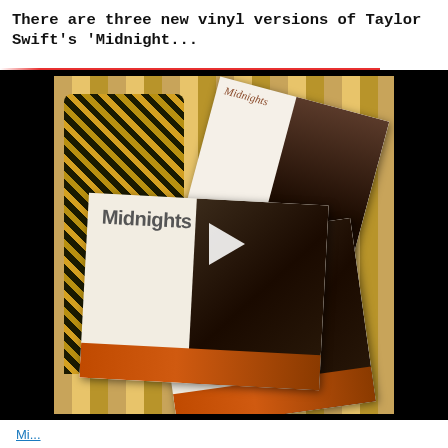There are three new vinyl versions of Taylor Swift's 'Midnight...
[Figure (photo): Video thumbnail showing a person in a yellow-black striped shirt holding three Taylor Swift 'Midnights' vinyl album covers of different sizes, with a play button overlay in the center. The background shows vertical orange/yellow striped curtain or wallpaper.]
Mi...